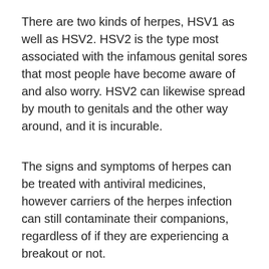There are two kinds of herpes, HSV1 as well as HSV2. HSV2 is the type most associated with the infamous genital sores that most people have become aware of and also worry. HSV2 can likewise spread by mouth to genitals and the other way around, and it is incurable.
The signs and symptoms of herpes can be treated with antiviral medicines, however carriers of the herpes infection can still contaminate their companions, regardless of if they are experiencing a breakout or not.
Condoms can minimize the danger of having this unpleasant STD, however they are not 100-percent reliable, since herpes can be spread with